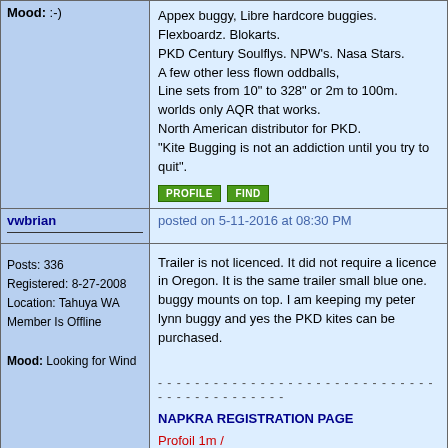Mood: :-)
Appex buggy, Libre hardcore buggies. Flexboardz. Blokarts. PKD Century Soulflys. NPW's. Nasa Stars. A few other less flown oddballs, Line sets from 10" to 328" or 2m to 100m. worlds only AQR that works. North American distributor for PKD. "Kite Bugging is not an addiction until you try to quit".
PROFILE   FIND
vwbrian
posted on 5-11-2016 at 08:30 PM
Posts: 336
Registered: 8-27-2008
Location: Tahuya WA
Member Is Offline
Mood: Looking for Wind
Trailer is not licenced. It did not require a licence in Oregon. It is the same trailer small blue one. buggy mounts on top. I am keeping my peter lynn buggy and yes the PKD kites can be purchased.
NAPKRA REGISTRATION PAGE
Profoil 1m /
Libre Speedy 2 2.1
JOJO ET 1.5,2.5,7 / 5 RM / 8 RM+
Zebra 4M
Peter Lynn Beachr 16.8 RB 17 Bomba 10 Synergy